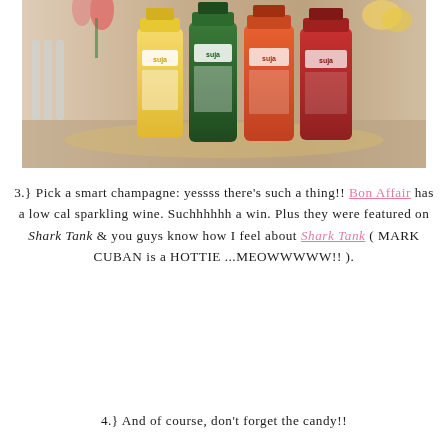[Figure (photo): Photo of four Suja juice/drink bottles lined up on a tray on a table, with glasses and flowers in the background. Bottles are yellow, green, orange-red, and red.]
3.} Pick a smart champagne: yessss there's such a thing!! Bon Affair has a low cal sparkling wine. Suchhhhhh a win. Plus they were featured on Shark Tank & you guys know how I feel about Shark Tank ( MARK CUBAN is a HOTTIE ...MEOWWWWW!! ).
4.} And of course, don't forget the candy!!